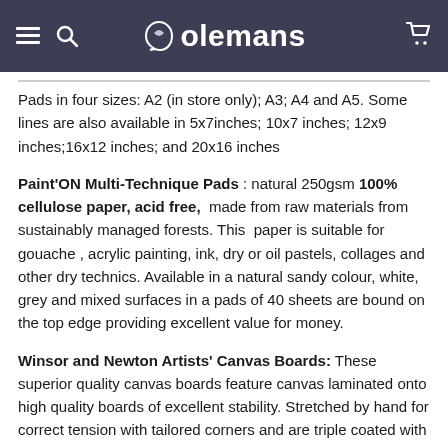Colemans
Pads in four sizes: A2 (in store only); A3; A4 and A5. Some lines are also available in 5x7inches; 10x7 inches; 12x9 inches;16x12 inches; and 20x16 inches
Paint'ON Multi-Technique Pads : natural 250gsm 100% cellulose paper, acid free, made from raw materials from sustainably managed forests. This paper is suitable for gouache , acrylic painting, ink, dry or oil pastels, collages and other dry technics. Available in a natural sandy colour, white, grey and mixed surfaces in a pads of 40 sheets are bound on the top edge providing excellent value for money.
Winsor and Newton Artists' Canvas Boards: These superior quality canvas boards feature canvas laminated onto high quality boards of excellent stability. Stretched by hand for correct tension with tailored corners and are triple coated with one coat of acid free sizing and two coats of highly pigmented